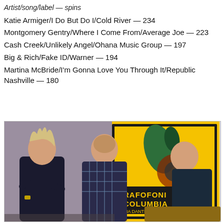Artist/song/label — spins
Katie Armiger/I Do But Do I/Cold River — 234
Montgomery Gentry/Where I Come From/Average Joe — 223
Cash Creek/Unlikely Angel/Ohana Music Group — 197
Big & Rich/Fake ID/Warner — 194
Martina McBride/I'm Gonna Love You Through It/Republic Nashville — 180
[Figure (photo): Three men posing together indoors in front of a colorful vintage Grafofoni Columbia Via Dante 9 Milano poster/advertisement. The man on the left has light hair and wears a dark blazer, the man in the middle wears a plaid shirt, and the man on the right wears a dark shirt.]